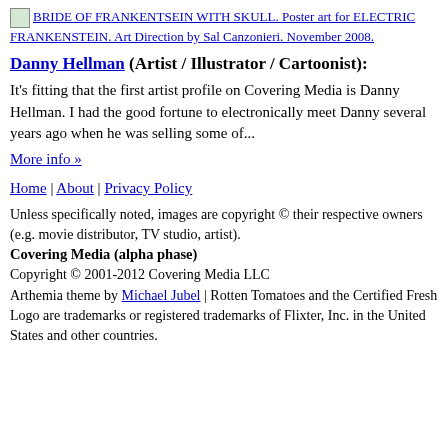[Figure (photo): Image thumbnail placeholder with alt text: BRIDE OF FRANKENTSEIN WITH SKULL. Poster art for ELECTRIC FRANKENSTEIN. Art Direction by Sal Canzonieri. November 2008.]
Danny Hellman (Artist / Illustrator / Cartoonist):
It's fitting that the first artist profile on Covering Media is Danny Hellman. I had the good fortune to electronically meet Danny several years ago when he was selling some of...
More info »
Home | About | Privacy Policy
Unless specifically noted, images are copyright © their respective owners (e.g. movie distributor, TV studio, artist).
Covering Media (alpha phase)
Copyright © 2001-2012 Covering Media LLC
Arthemia theme by Michael Jubel | Rotten Tomatoes and the Certified Fresh Logo are trademarks or registered trademarks of Flixter, Inc. in the United States and other countries.